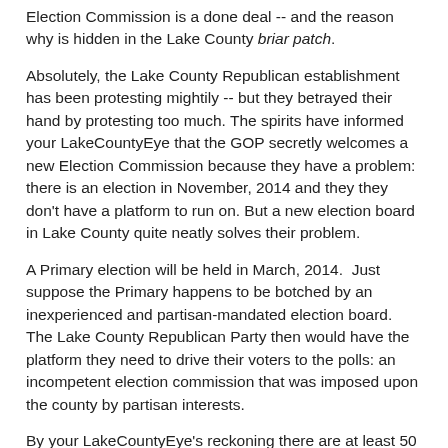Election Commission is a done deal -- and the reason why is hidden in the Lake County briar patch.
Absolutely, the Lake County Republican establishment has been protesting mightily -- but they betrayed their hand by protesting too much. The spirits have informed your LakeCountyEye that the GOP secretly welcomes a new Election Commission because they have a problem: there is an election in November, 2014 and they they don't have a platform to run on. But a new election board in Lake County quite neatly solves their problem.
A Primary election will be held in March, 2014.  Just suppose the Primary happens to be botched by an inexperienced and partisan-mandated election board.  The Lake County Republican Party then would have the platform they need to drive their voters to the polls: an incompetent election commission that was imposed upon the county by partisan interests.
By your LakeCountyEye's reckoning there are at least 50 ways to botch any election. And for certain parties, it would